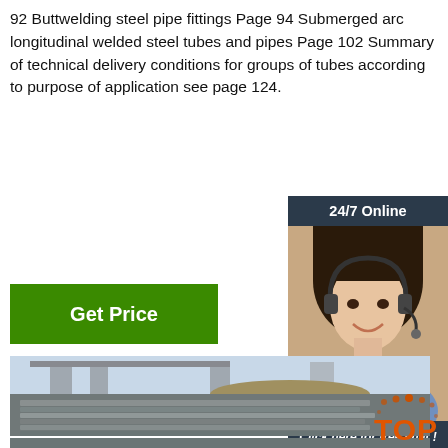92 Buttwelding steel pipe fittings Page 94 Submerged arc longitudinal welded steel tubes and pipes Page 102 Summary of technical delivery conditions for groups of tubes according to purpose of application see page 124.
[Figure (other): Green 'Get Price' button]
[Figure (other): 24/7 Online chat sidebar with customer service representative photo, 'Click here for free chat!' text, and orange QUOTATION button]
[Figure (photo): Stacked steel flat bars/plates in an industrial yard with bridge pillars in background]
[Figure (logo): TOP logo with orange text and dot pattern]